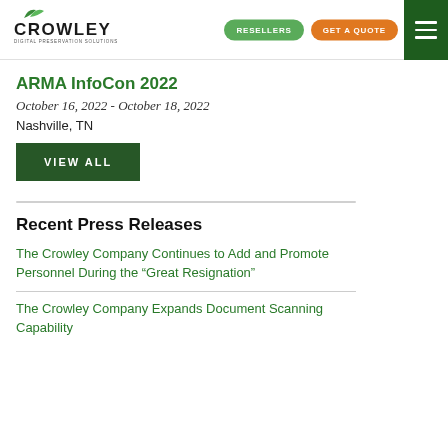CROWLEY DIGITAL PRESERVATION SOLUTIONS | RESELLERS | GET A QUOTE
ARMA InfoCon 2022
October 16, 2022 - October 18, 2022
Nashville, TN
VIEW ALL
Recent Press Releases
The Crowley Company Continues to Add and Promote Personnel During the “Great Resignation”
The Crowley Company Expands Document Scanning Capability